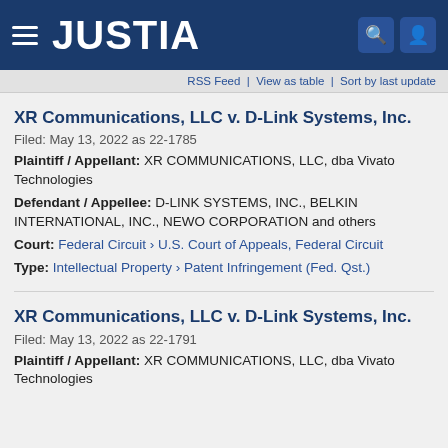JUSTIA
RSS Feed | View as table | Sort by last update
XR Communications, LLC v. D-Link Systems, Inc.
Filed: May 13, 2022 as 22-1785
Plaintiff / Appellant: XR COMMUNICATIONS, LLC, dba Vivato Technologies
Defendant / Appellee: D-LINK SYSTEMS, INC., BELKIN INTERNATIONAL, INC., NEWO CORPORATION and others
Court: Federal Circuit › U.S. Court of Appeals, Federal Circuit
Type: Intellectual Property › Patent Infringement (Fed. Qst.)
XR Communications, LLC v. D-Link Systems, Inc.
Filed: May 13, 2022 as 22-1791
Plaintiff / Appellant: XR COMMUNICATIONS, LLC, dba Vivato Technologies